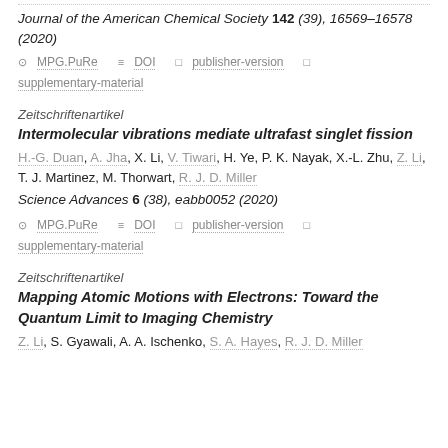Journal of the American Chemical Society 142 (39), 16569–16578 (2020)
⊙ MPG.PuRe  ≡ DOI  □ publisher-version  □ supplementary-material
Zeitschriftenartikel
Intermolecular vibrations mediate ultrafast singlet fission
H.-G. Duan, A. Jha, X. Li, V. Tiwari, H. Ye, P. K. Nayak, X.-L. Zhu, Z. Li, T. J. Martinez, M. Thorwart, R. J. D. Miller
Science Advances 6 (38), eabb0052 (2020)
⊙ MPG.PuRe  ≡ DOI  □ publisher-version  □ supplementary-material
Zeitschriftenartikel
Mapping Atomic Motions with Electrons: Toward the Quantum Limit to Imaging Chemistry
Z. Li, S. Gyawali, A. A. Ischenko, S. A. Hayes, R. J. D. Miller